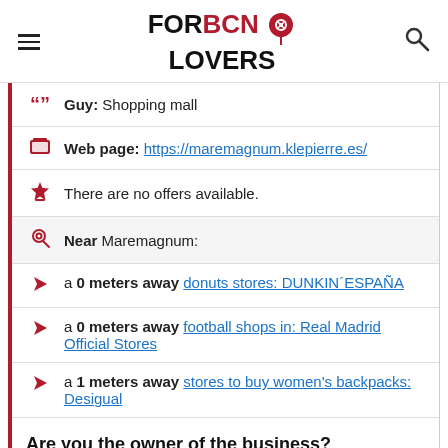FOR BCN LOVERS
Guy: Shopping mall
Web page: https://maremagnum.klepierre.es/
There are no offers available.
Near Maremagnum:
a 0 meters away donuts stores: DUNKIN´ESPAÑA
a 0 meters away football shops in: Real Madrid Official Stores
a 1 meters away stores to buy women's backpacks: Desigual
Are you the owner of the business? PROMOTE IT!